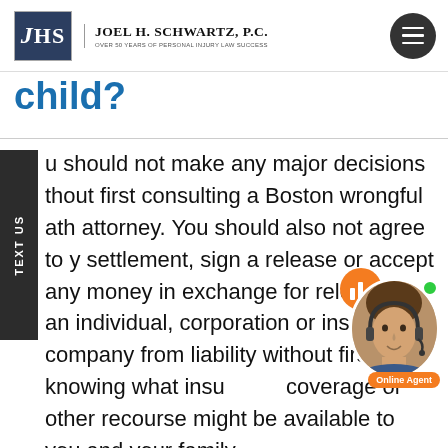Joel H. Schwartz, P.C. — Over 50 Years of Personal Injury Law Success
child?
u should not make any major decisions thout first consulting a Boston wrongful ath attorney. You should also not agree to y settlement, sign a release or accept any money in exchange for releasing an individual, corporation or insurance company from liability without first knowing what insurance coverage or other recourse might be available to you and your family.